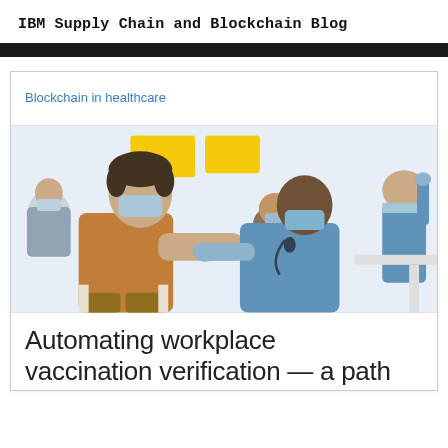IBM Supply Chain and Blockchain Blog
Blockchain in healthcare
[Figure (photo): A healthcare worker in blue scrubs and a face mask administers a vaccine injection to a young man in a brown shirt and face mask. Several other people wearing masks are seated in the background in what appears to be a clinic or vaccination center with yellow signage.]
Automating workplace vaccination verification — a path